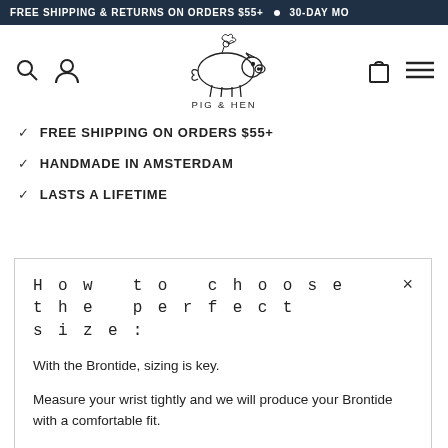FREE SHIPPING & RETURNS ON ORDERS $55+  •  30-DAY MO
[Figure (logo): Pig & Hen brand logo: outline drawing of a pig with a rooster/hen on its back, text PIG & HEN below]
✓ FREE SHIPPING ON ORDERS $55+
✓ HANDMADE IN AMSTERDAM
✓ LASTS A LIFETIME
How to choose the perfect size:
With the Brontide, sizing is key.
Measure your wrist tightly and we will produce your Brontide with a comfortable fit.
If you are in doubt between two sizes, it is advisable to choose the smallest size.